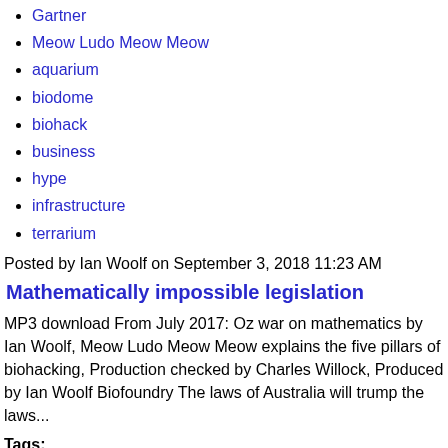Gartner
Meow Ludo Meow Meow
aquarium
biodome
biohack
business
hype
infrastructure
terrarium
Posted by Ian Woolf on September 3, 2018 11:23 AM
Mathematically impossible legislation
MP3 download From July 2017: Oz war on mathematics by Ian Woolf, Meow Ludo Meow Meow explains the five pillars of biohacking, Production checked by Charles Willock, Produced by Ian Woolf Biofoundry The laws of Australia will trump the laws...
Tags:
Meow Ludo Meow Meow
biohacking
cryptography